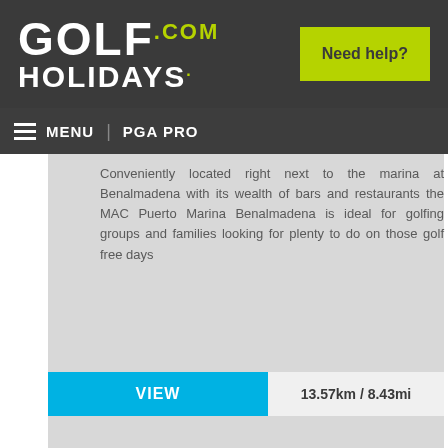GOLF HOLIDAYS .com — Need help?
MENU | PGA PRO
Conveniently located right next to the marina at Benalmadena with its wealth of bars and restaurants the MAC Puerto Marina Benalmadena is ideal for golfing groups and families looking for plenty to do on those golf free days
VIEW  13.57km / 8.43mi
[Figure (photo): Second hotel card, gray placeholder image]